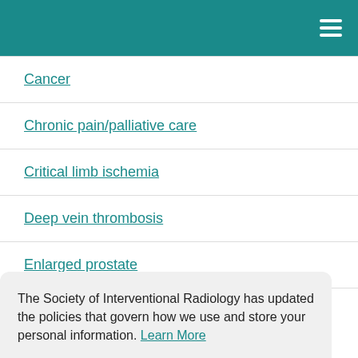Cancer
Chronic pain/palliative care
Critical limb ischemia
Deep vein thrombosis
Enlarged prostate
The Society of Interventional Radiology has updated the policies that govern how we use and store your personal information. Learn More
Liver disease